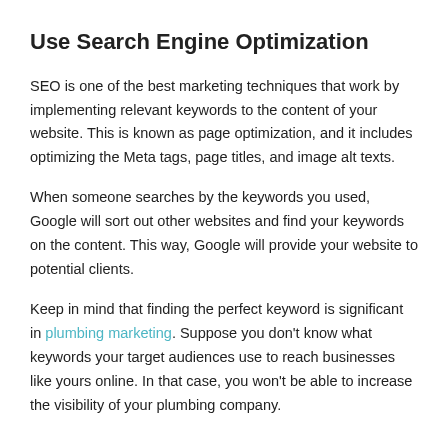Use Search Engine Optimization
SEO is one of the best marketing techniques that work by implementing relevant keywords to the content of your website. This is known as page optimization, and it includes optimizing the Meta tags, page titles, and image alt texts.
When someone searches by the keywords you used, Google will sort out other websites and find your keywords on the content. This way, Google will provide your website to potential clients.
Keep in mind that finding the perfect keyword is significant in plumbing marketing. Suppose you don't know what keywords your target audiences use to reach businesses like yours online. In that case, you won't be able to increase the visibility of your plumbing company.